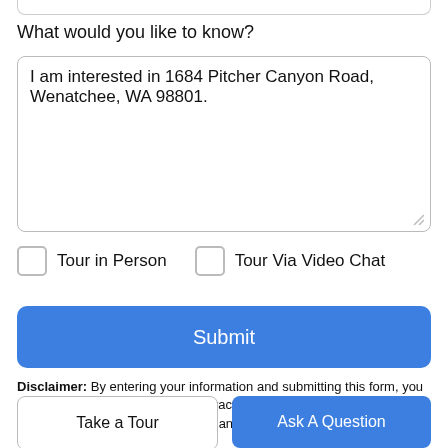What would you like to know?
I am interested in 1684 Pitcher Canyon Road, Wenatchee, WA 98801.
Tour in Person
Tour Via Video Chat
Submit
Disclaimer: By entering your information and submitting this form, you agree to our Terms of Use and Privacy Policy and that you may be contacted by phone, text message and email about your inquiry.
Take a Tour
Ask A Question